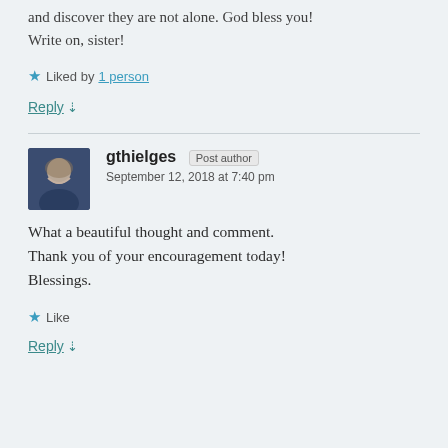and discover they are not alone. God bless you! Write on, sister!
★ Liked by 1 person
Reply ↓
gthielges Post author
September 12, 2018 at 7:40 pm
What a beautiful thought and comment. Thank you of your encouragement today! Blessings.
★ Like
Reply ↓